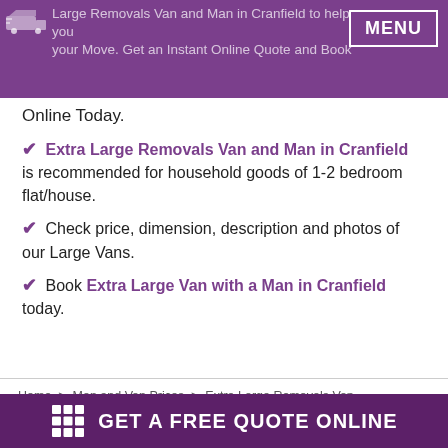Large Removals Van and Man in Cranfield ... your Move. Get an Instant Online Quote and Book ... Online Today. MENU
Online Today.
Extra Large Removals Van and Man in Cranfield is recommended for household goods of 1-2 bedroom flat/house.
Check price, dimension, description and photos of our Large Vans.
Book Extra Large Van with a Man in Cranfield today.
Home > Man and Van Prices > Extra Large Removals Van > Cranfield
GET A FREE QUOTE ONLINE